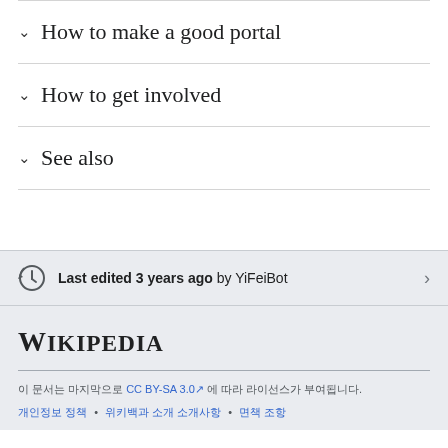∨ How to make a good portal
∨ How to get involved
∨ See also
Last edited 3 years ago by YiFeiBot
Wikipedia
이 문서는 마지막으로 CC BY-SA 3.0 에 따라 라이선스가 부여됩니다. 개인정보 정책 • 위키백과 소개 소개사항 • 면책 조항